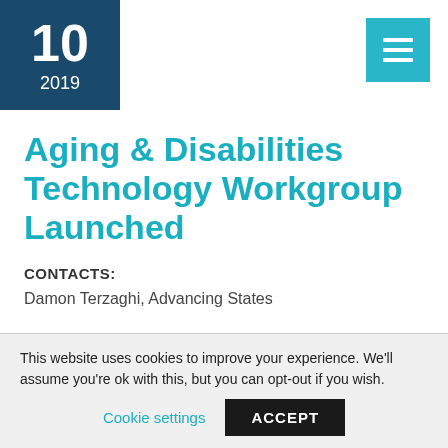10 2019
Aging & Disabilities Technology Workgroup Launched
CONTACTS:
Damon Terzaghi, Advancing States
This website uses cookies to improve your experience. We'll assume you're ok with this, but you can opt-out if you wish.
Cookie settings   ACCEPT